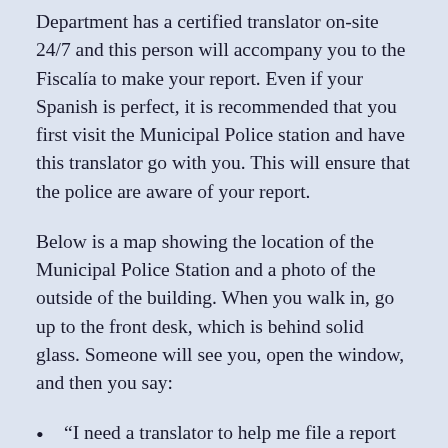Department has a certified translator on-site 24/7 and this person will accompany you to the Fiscalía to make your report. Even if your Spanish is perfect, it is recommended that you first visit the Municipal Police station and have this translator go with you. This will ensure that the police are aware of your report.
Below is a map showing the location of the Municipal Police Station and a photo of the outside of the building. When you walk in, go up to the front desk, which is behind solid glass. Someone will see you, open the window, and then you say:
“I need a translator to help me file a report